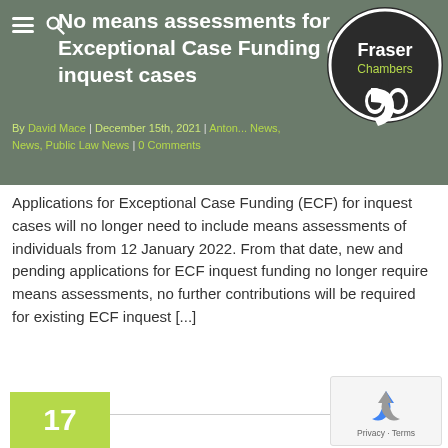No means assessments for Exceptional Case Funding (ECF) for inquest cases
By David Mace | December 15th, 2021 | Anton... News, News, Public Law News | 0 Comments
[Figure (logo): Fraser Chambers logo — dark circular badge with white text 'Fraser Chambers' and a stylized quotation mark]
Applications for Exceptional Case Funding (ECF) for inquest cases will no longer need to include means assessments of individuals from 12 January 2022. From that date, new and pending applications for ECF inquest funding no longer require means assessments, no further contributions will be required for existing ECF inquest [...]
Read More
17